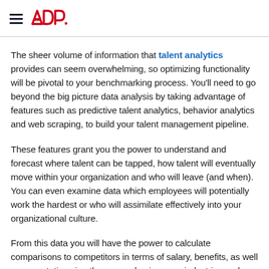ADP logo and navigation menu
The sheer volume of information that talent analytics provides can seem overwhelming, so optimizing functionality will be pivotal to your benchmarking process. You'll need to go beyond the big picture data analysis by taking advantage of features such as predictive talent analytics, behavior analytics and web scraping, to build your talent management pipeline.
These features grant you the power to understand and forecast where talent can be tapped, how talent will eventually move within your organization and who will leave (and when). You can even examine data which employees will potentially work the hardest or who will assimilate effectively into your organizational culture.
From this data you will have the power to calculate comparisons to competitors in terms of salary, benefits, as well as expectations in other areas, businesses, industries and regions. It's this depth of information that will provide you an opportunity to leapfrog your